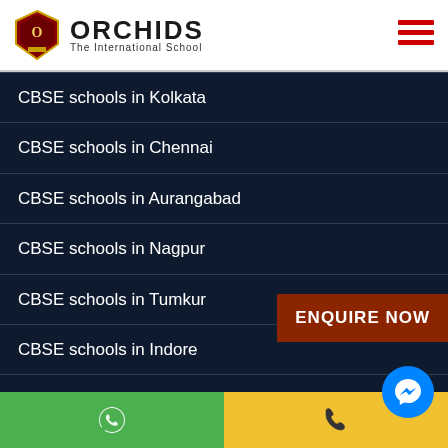ORCHIDS The International School
CBSE schools in Kolkata
CBSE schools in Chennai
CBSE schools in Aurangabad
CBSE schools in Nagpur
CBSE schools in Tumkur
CBSE schools in Indore
ENQUIRE NOW
REACH US
[Figure (other): Bottom navigation bar with WhatsApp icon (green), phone icon (yellow), and Messenger circle button (blue)]